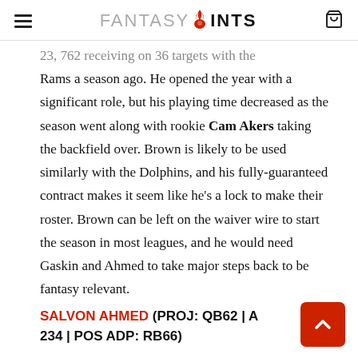FANTASY POINTS
23, 762 receiving on 36 targets with the Rams a season ago. He opened the year with a significant role, but his playing time decreased as the season went along with rookie Cam Akers taking the backfield over. Brown is likely to be used similarly with the Dolphins, and his fully-guaranteed contract makes it seem like he's a lock to make their roster. Brown can be left on the waiver wire to start the season in most leagues, and he would need Gaskin and Ahmed to take major steps back to be fantasy relevant.
SALVON AHMED (PROJ: QB62 | A 234 | POS ADP: RB66)